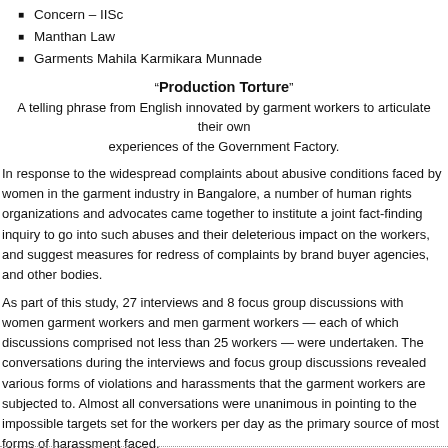Concern – IISc
Manthan Law
Garments Mahila Karmikara Munnade
“Production Torture”
A telling phrase from English innovated by garment workers to articulate their own experiences of the Government Factory.
In response to the widespread complaints about abusive conditions faced by women in the garment industry in Bangalore, a number of human rights organizations and advocates came together to institute a joint fact-finding inquiry to go into such abuses and their deleterious impact on the workers, and suggest measures for redress of complaints by brand buyer agencies, and other bodies.
As part of this study, 27 interviews and 8 focus group discussions with women garment workers and men garment workers — each of which discussions comprised not less than 25 workers — were undertaken. The conversations during the interviews and focus group discussions revealed various forms of violations and harassments that the garment workers are subjected to. Almost all conversations were unanimous in pointing to the impossible targets set for the workers per day as the primary source of most forms of harassment faced.